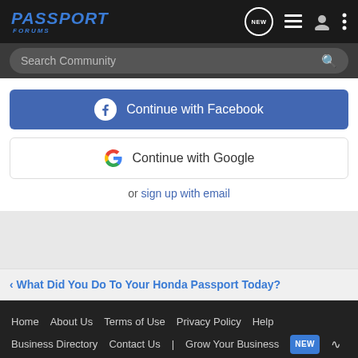PASSPORT FORUMS
Search Community
Continue with Facebook
Continue with Google
or sign up with email
< What Did You Do To Your Honda Passport Today?
Home About Us Terms of Use Privacy Policy Help Business Directory Contact Us | Grow Your Business NEW
VerticalScope Inc. 111 Peter Street, Suite 600, Toronto